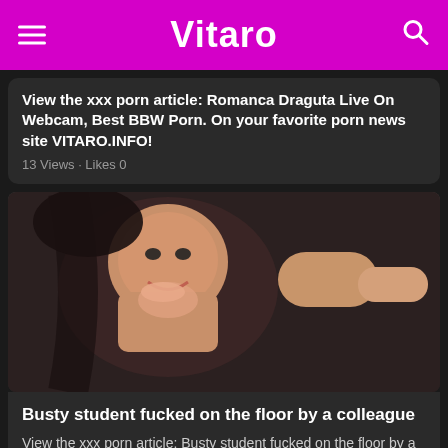Vitaro
View the xxx porn article: Romanca Draguta Live On Webcam, Best BBW Porn. On your favorite porn news site VITARO.INFO!
13 Views · Likes 0
[Figure (photo): Close-up photo of a woman with dark hair and open mouth facing a male body part]
Busty student fucked on the floor by a colleague
View the xxx porn article: Busty student fucked on the floor by a colleague, Best BBW Porn. On your favorite porn news site VITARO.INFO!
13 Views · Likes 0